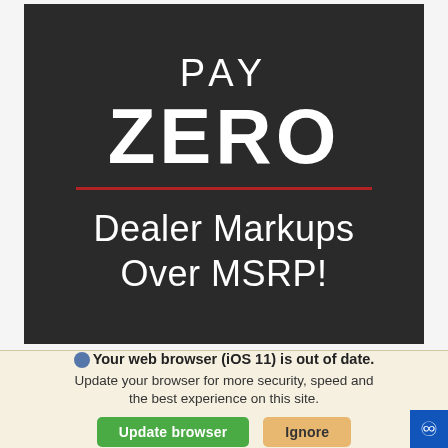[Figure (infographic): Dark background advertisement banner with text: PAY ZERO Dealer Markups Over MSRP! with a red horizontal line under ZERO]
Your web browser (iOS 11) is out of date. Update your browser for more security, speed and the best experience on this site.
Update browser   Ignore